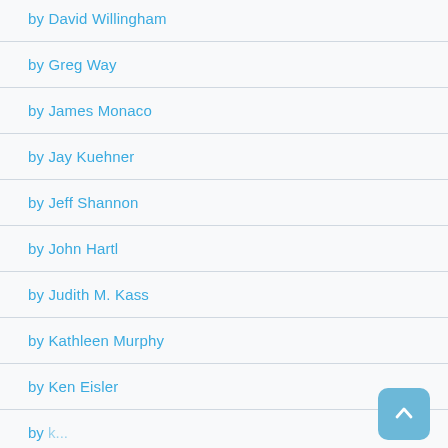by David Willingham
by Greg Way
by James Monaco
by Jay Kuehner
by Jeff Shannon
by John Hartl
by Judith M. Kass
by Kathleen Murphy
by Ken Eisler
by [partial — cut off]